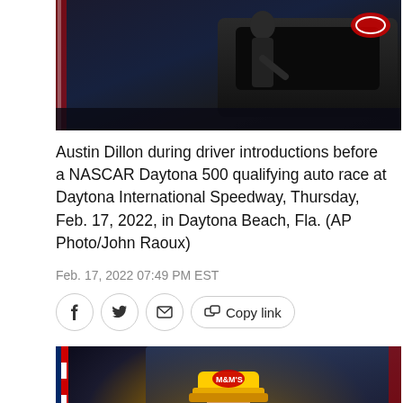[Figure (photo): Austin Dillon during driver introductions before a NASCAR Daytona 500 qualifying auto race at Daytona International Speedway, nighttime scene with figure and vehicle]
Austin Dillon during driver introductions before a NASCAR Daytona 500 qualifying auto race at Daytona International Speedway, Thursday, Feb. 17, 2022, in Daytona Beach, Fla. (AP Photo/John Raoux)
Feb. 17, 2022 07:49 PM EST
[Figure (other): Social sharing buttons: Facebook, Twitter, Email, Copy link]
[Figure (photo): NASCAR driver in yellow M&Ms racing suit and yellow cap standing near American flag at Daytona International Speedway at night]